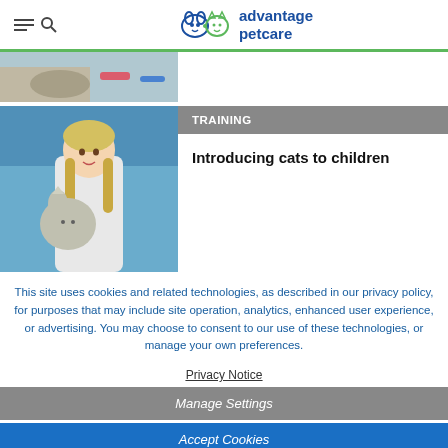advantage petcare
[Figure (photo): Partial view of a cat with toys on a floor]
[Figure (photo): Young girl with braided hair holding a fluffy cat]
TRAINING
Introducing cats to children
This site uses cookies and related technologies, as described in our privacy policy, for purposes that may include site operation, analytics, enhanced user experience, or advertising. You may choose to consent to our use of these technologies, or manage your own preferences.
Privacy Notice
Manage Settings
Accept Cookies